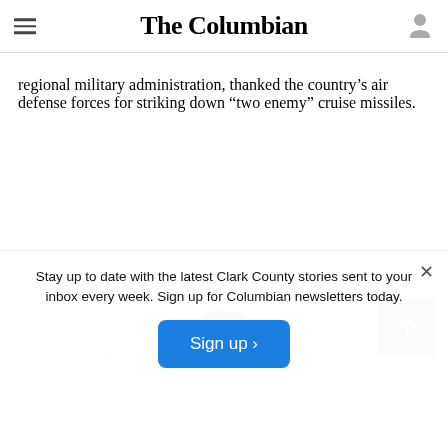The Columbian
regional military administration, thanked the country's air defense forces for striking down “two enemy” cruise missiles.
Stay up to date with the latest Clark County stories sent to your inbox every week. Sign up for Columbian newsletters today.